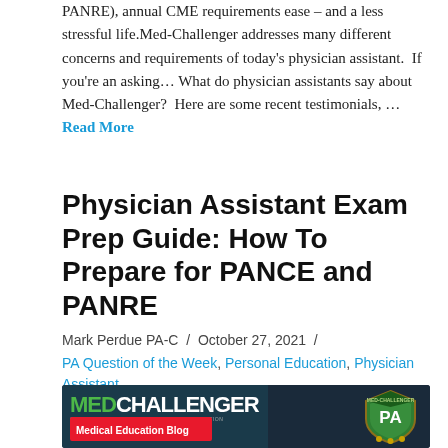PANRE), annual CME requirements ease – and a less stressful life. Med-Challenger addresses many different concerns and requirements of today's physician assistant.  If you're an asking… What do physician assistants say about Med-Challenger?  Here are some recent testimonials, … Read More
Physician Assistant Exam Prep Guide: How To Prepare for PANCE and PANRE
Mark Perdue PA-C  /  October 27, 2021  /  PA Question of the Week, Personal Education, Physician Assistant
[Figure (illustration): Med-Challenger Medical Education Blog banner with logo showing MED in green and CHALLENGER in white on dark background, a red bar reading Medical Education Blog, and a PA shield badge on the right.]